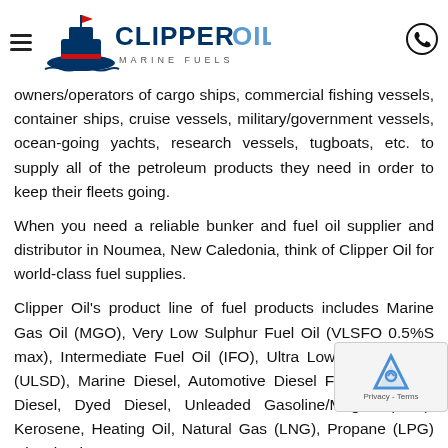Clipper Oil Marine Fuels
owners/operators of cargo ships, commercial fishing vessels, container ships, cruise vessels, military/government vessels, ocean-going yachts, research vessels, tugboats, etc. to supply all of the petroleum products they need in order to keep their fleets going.
When you need a reliable bunker and fuel oil supplier and distributor in Noumea, New Caledonia, think of Clipper Oil for world-class fuel supplies.
Clipper Oil's product line of fuel products includes Marine Gas Oil (MGO), Very Low Sulphur Fuel Oil (VLSFO 0.5%S max), Intermediate Fuel Oil (IFO), Ultra Low Sulfur Diesel (ULSD), Marine Diesel, Automotive Diesel Fuel (ADF), #2 Diesel, Dyed Diesel, Unleaded Gasoline/Mogas (ULP), Kerosene, Heating Oil, Liquefied Natural Gas (LNG), Propane (LPG) Diesel Exhaust...